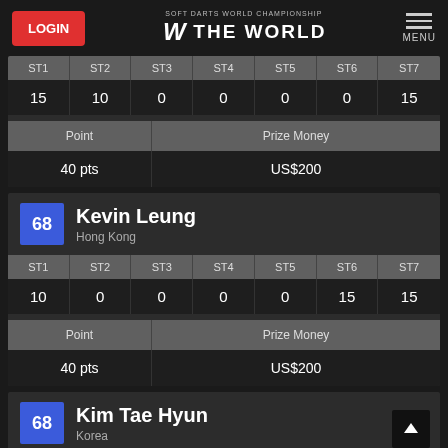LOGIN | SOFT DARTS WORLD CHAMPIONSHIP THE WORLD | MENU
| ST1 | ST2 | ST3 | ST4 | ST5 | ST6 | ST7 |
| --- | --- | --- | --- | --- | --- | --- |
| 15 | 10 | 0 | 0 | 0 | 0 | 15 |
| Point | Prize Money |
| --- | --- |
| 40 pts | US$200 |
68 Kevin Leung - Hong Kong
| ST1 | ST2 | ST3 | ST4 | ST5 | ST6 | ST7 |
| --- | --- | --- | --- | --- | --- | --- |
| 10 | 0 | 0 | 0 | 0 | 15 | 15 |
| Point | Prize Money |
| --- | --- |
| 40 pts | US$200 |
68 Kim Tae Hyun - Korea